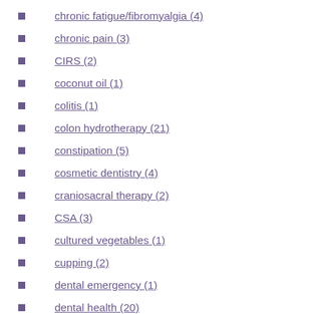chronic fatigue/fibromyalgia (4)
chronic pain (3)
CIRS (2)
coconut oil (1)
colitis (1)
colon hydrotherapy (21)
constipation (5)
cosmetic dentistry (4)
craniosacral therapy (2)
CSA (3)
cultured vegetables (1)
cupping (2)
dental emergency (1)
dental health (20)
depression (5)
dermatology (3)